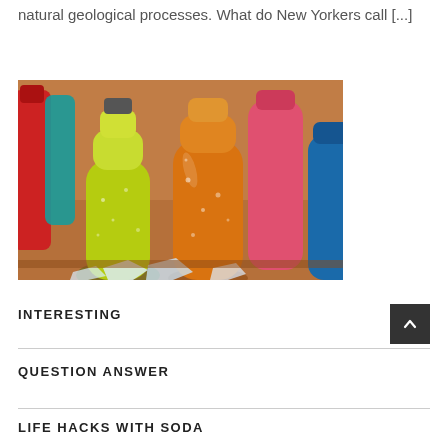natural geological processes. What do New Yorkers call [...]
[Figure (photo): Colorful glass soda bottles chilling in ice — yellow-green, orange, pink/red, and blue bottles with condensation, in a wooden or dark bucket with ice chunks]
INTERESTING
QUESTION ANSWER
LIFE HACKS WITH SODA